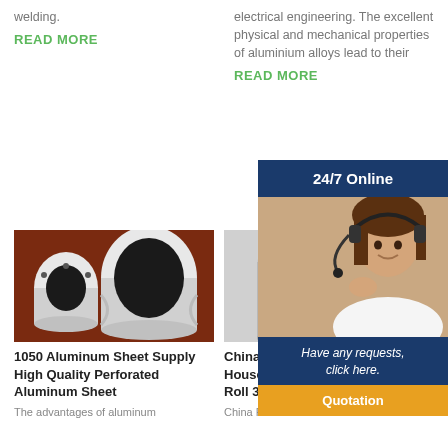welding.
READ MORE
electrical engineering. The excellent physical and mechanical properties of aluminium alloys lead to their
READ MORE
[Figure (photo): Customer service agent with headset, 24/7 Online banner, Have any requests click here text, and Quotation button]
[Figure (photo): Photo of aluminum extrusion tubes/profiles on a dark red surface]
1050 Aluminum Sheet Supply High Quality Perforated Aluminum Sheet
The advantages of aluminum
[Figure (photo): Photo of aluminum foil roll cylinder, gray/silver colored]
China Supplier Disposable 8 Household Aluminium Foil Roll 30cm
China Foil Roll manufacturers +